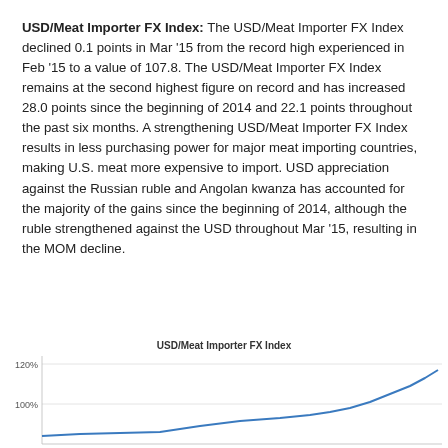USD/Meat Importer FX Index: The USD/Meat Importer FX Index declined 0.1 points in Mar '15 from the record high experienced in Feb '15 to a value of 107.8. The USD/Meat Importer FX Index remains at the second highest figure on record and has increased 28.0 points since the beginning of 2014 and 22.1 points throughout the past six months. A strengthening USD/Meat Importer FX Index results in less purchasing power for major meat importing countries, making U.S. meat more expensive to import. USD appreciation against the Russian ruble and Angolan kwanza has accounted for the majority of the gains since the beginning of 2014, although the ruble strengthened against the USD throughout Mar '15, resulting in the MOM decline.
[Figure (line-chart): Line chart showing USD/Meat Importer FX Index over time, with y-axis labels at 100% and 120%, line rising sharply at the right edge]